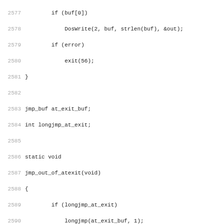[Figure (screenshot): Source code listing lines 2577-2609 in monospace font with line numbers, showing C code for OS2 terminal handling including DosWrite, jmp_buf, longjmp, _CRT_term, emx_runtime_secondary, Perl_OS2_term functions, and comments about CRTL shutdown logic.]